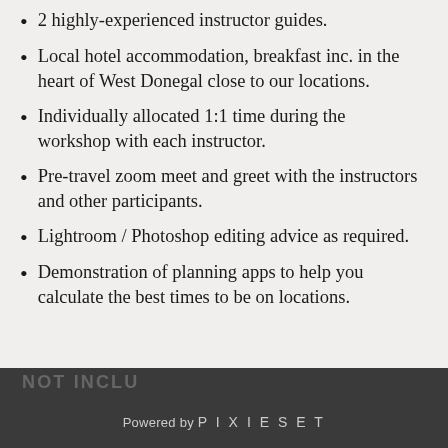2 highly-experienced instructor guides.
Local hotel accommodation, breakfast inc. in the heart of West Donegal close to our locations.
Individually allocated 1:1 time during the workshop with each instructor.
Pre-travel zoom meet and greet with the instructors and other participants.
Lightroom / Photoshop editing advice as required.
Demonstration of planning apps to help you calculate the best times to be on locations.
NOT INCLU  Powered by PIXIESET